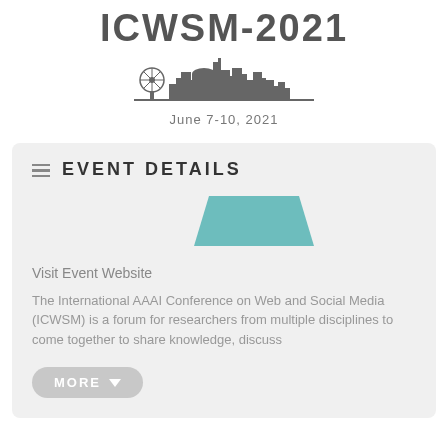ICWSM-2021
[Figure (illustration): City skyline silhouette graphic (Atlanta skyline) in gray]
June 7-10, 2021
EVENT DETAILS
[Figure (illustration): Teal/green trapezoid shape used as decorative icon]
Visit Event Website
The International AAAI Conference on Web and Social Media (ICWSM) is a forum for researchers from multiple disciplines to come together to share knowledge, discuss
MORE